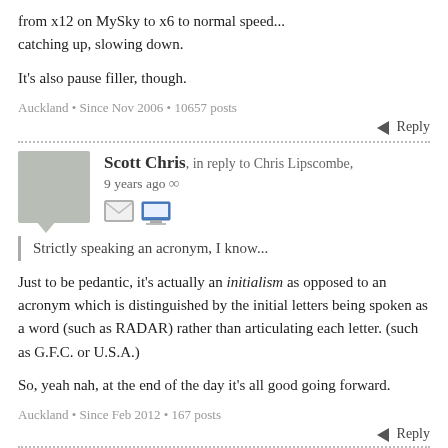from x12 on MySky to x6 to normal speed... catching up, slowing down.
It's also pause filler, though.
Auckland • Since Nov 2006 • 10657 posts
Reply
Scott Chris, in reply to Chris Lipscombe, 9 years ago ∞
Strictly speaking an acronym, I know...
Just to be pedantic, it's actually an initialism as opposed to an acronym which is distinguished by the initial letters being spoken as a word (such as RADAR) rather than articulating each letter. (such as G.F.C. or U.S.A.)
So, yeah nah, at the end of the day it's all good going forward.
Auckland • Since Feb 2012 • 167 posts
Reply